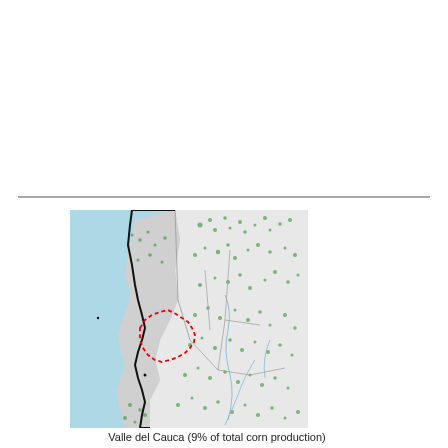[Figure (map): Map showing Valle del Cauca region in Colombia. The region is outlined with a bold black border. The Pacific Ocean (blue) is on the left side. The highlighted sub-region (Valle del Cauca department) is outlined with a red dashed border in the center-right of the map. Green dots indicate corn production areas scattered across the landscape. Adjacent departments are shown in light gray with thin gray borders. Rivers are shown as thin blue lines.]
Valle del Cauca (9% of total corn production)